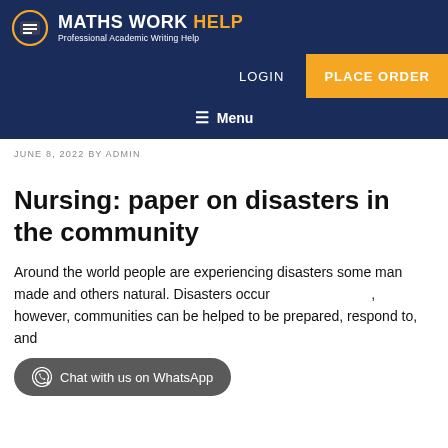MATHS WORK HELP - Professional Academic Writing Help
LOGIN  PLACE ORDER
≡ Menu
JUNE 8, 2022 BY ADMIN
Nursing: paper on disasters in the community
Around the world people are experiencing disasters some man made and others natural. Disasters occur however, communities can be helped to be prepared, respond to, and